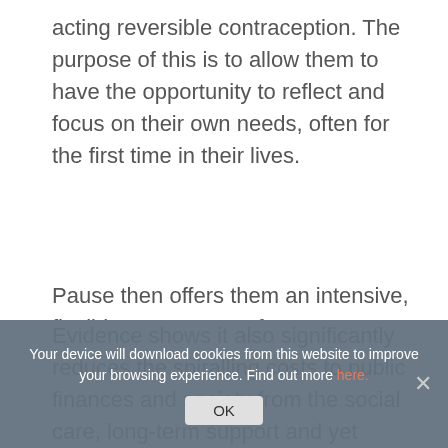acting reversible contraception. The purpose of this is to allow them to have the opportunity to reflect and focus on their own needs, often for the first time in their lives.
Pause then offers them an intensive, flexible programme of support, tailored to their individual needs, so they tackle destructive patterns, develop new skills and avoid further trauma. This helps them set in place strong foundations upon which they can build a more positive future for themselves.
Evidence shows it also significantly reduces the spiralling costs to public finances and society from the social care, long-term support and yet another generation of children being born into statutory care. The initial projects in Hull, Doncaster